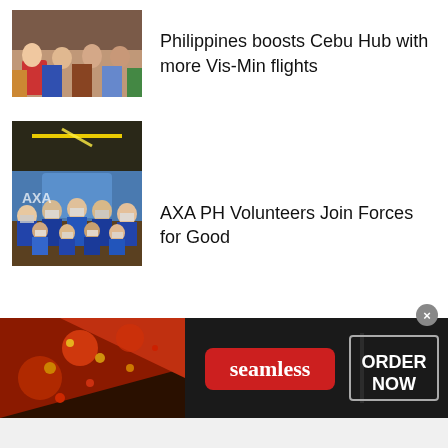[Figure (photo): Group photo of people standing together, news article thumbnail]
Philippines boosts Cebu Hub with more Vis-Min flights
[Figure (photo): Group of volunteers wearing blue clothes and face masks inside a restaurant with neon lights]
AXA PH Volunteers Join Forces for Good
[Figure (photo): Seamless food delivery advertisement banner with pizza image, Seamless logo, and ORDER NOW button]